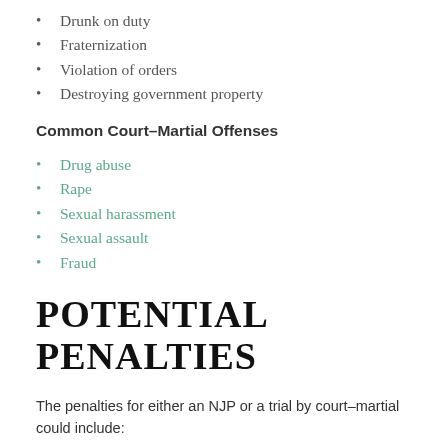Drunk on duty
Fraternization
Violation of orders
Destroying government property
Common Court–Martial Offenses
Drug abuse
Rape
Sexual harassment
Sexual assault
Fraud
POTENTIAL PENALTIES
The penalties for either an NJP or a trial by court–martial could include:
Restriction,